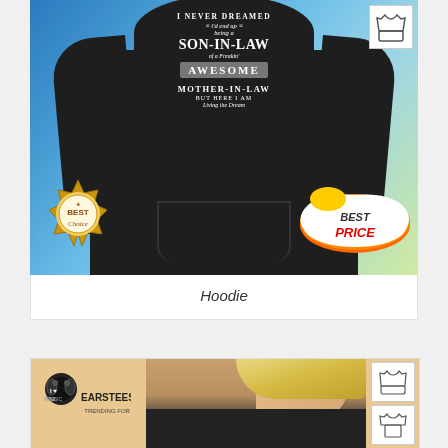[Figure (photo): Black hoodie with text 'I Never Dreamed I'd End Up Being a Son-In-Law of a Freakin' Awesome Mother-In-Law But Here I Am Living the Dream' on a blue/teal background. Has Best Choice and Best Price badges.]
Hoodie
[Figure (photo): Second product listing showing a model wearing a dark shirt, with EarsTees.com logo on left and hoodie/t-shirt style icons on right]